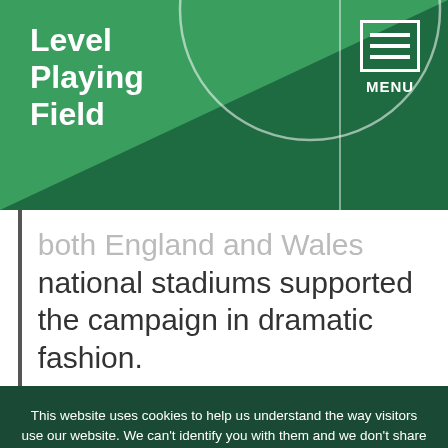Level Playing Field
both England and Wales national stadiums supported the campaign in dramatic fashion.
This website uses cookies to help us understand the way visitors use our website. We can't identify you with them and we don't share the data with anyone else. Find out more in our privacy policy.
Accept cookies | Reject cookies